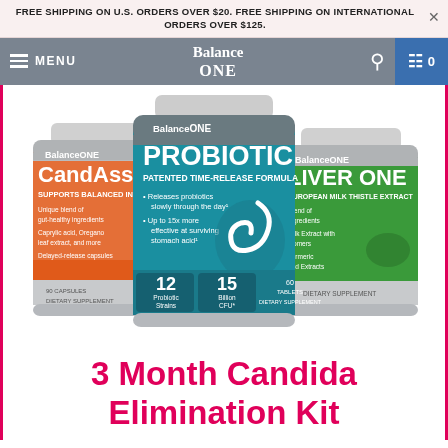FREE SHIPPING ON U.S. ORDERS OVER $20. FREE SHIPPING ON INTERNATIONAL ORDERS OVER $125.
[Figure (screenshot): Website navigation bar with hamburger menu, MENU text, Balance ONE logo in center, search icon, and cart icon with 0 count on blue background.]
[Figure (photo): Three Balance ONE supplement bottles arranged side by side: CandAssist (red/orange) on left, Probiotic with patented time-release formula (teal/blue) in center, and Liver One (green) on right. The Probiotic bottle shows 12 Probiotic Strains, 15 Billion CFU, 60 Tablets.]
3 Month Candida Elimination Kit